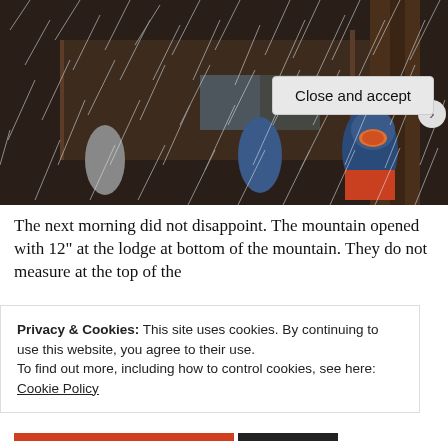[Figure (photo): Outdoor scene during heavy snowstorm. People in winter gear stand near a wooden lodge building. One person on the right wears a blue jacket and orange ski goggles. Snow is falling heavily with streaks visible across the image.]
The next morning did not disappoint. The mountain opened with 12" at the lodge at bottom of the mountain. They do not measure at the top of the
Privacy & Cookies: This site uses cookies. By continuing to use this website, you agree to their use.
To find out more, including how to control cookies, see here: Cookie Policy
Close and accept